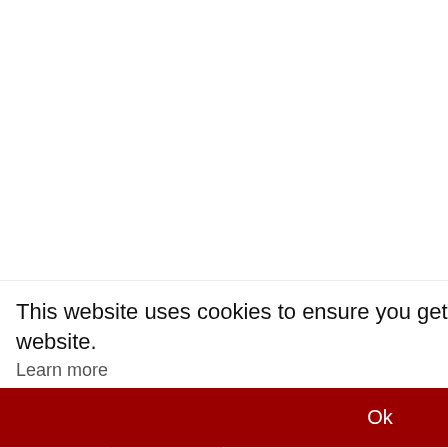Lot#: 3229
[Figure (photo): Auction item image area, partially visible on left side of page]
[Figure (photo): Smaller item image on right panel, page 1 of 2]
1 / 2
↑
⬇ Download main picture
< Share
This website uses cookies to ensure you get the best experience on our website.
Learn more
Ok